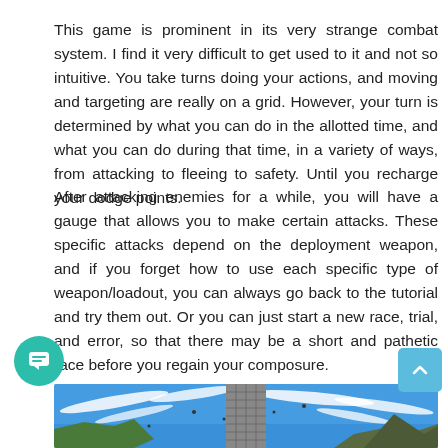This game is prominent in its very strange combat system. I find it very difficult to get used to it and not so intuitive. You take turns doing your actions, and moving and targeting are really on a grid. However, your turn is determined by what you can do in the allotted time, and what you can do during that time, in a variety of ways, from attacking to fleeing to safety. Until you recharge your dodge points.
After attacking enemies for a while, you will have a gauge that allows you to make certain attacks. These specific attacks depend on the deployment weapon, and if you forget how to use each specific type of weapon/loadout, you can always go back to the tutorial and try them out. Or you can just start a new race, trial, and error, so that there may be a short and pathetic race before you regain your composure.
[Figure (screenshot): Screenshot of a game showing a tall stone/brick tower in the center against a bright blue sky with white cloud streaks. Rocky terrain and mountain-like formations visible at the bottom and sides. Small dark objects scattered in the sky.]